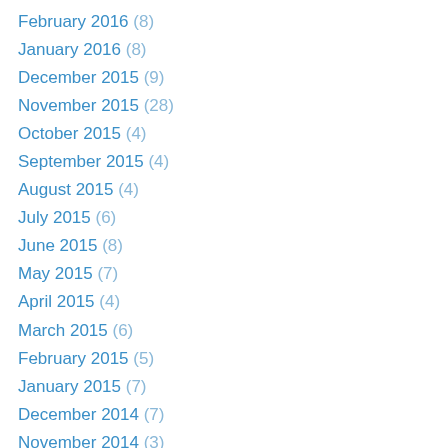February 2016 (8)
January 2016 (8)
December 2015 (9)
November 2015 (28)
October 2015 (4)
September 2015 (4)
August 2015 (4)
July 2015 (6)
June 2015 (8)
May 2015 (7)
April 2015 (4)
March 2015 (6)
February 2015 (5)
January 2015 (7)
December 2014 (7)
November 2014 (3)
October 2014 (5)
September 2014 (1)
August 2014 (8)
July 2014 (2)